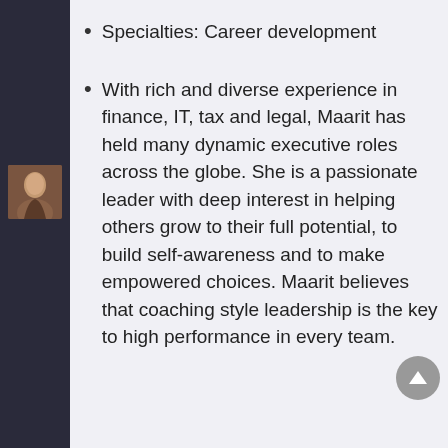Specialties: Career development
[Figure (photo): Headshot photo of Maarit, a woman with shoulder-length hair]
With rich and diverse experience in finance, IT, tax and legal, Maarit has held many dynamic executive roles across the globe. She is a passionate leader with deep interest in helping others grow to their full potential, to build self-awareness and to make empowered choices. Maarit believes that coaching style leadership is the key to high performance in every team.